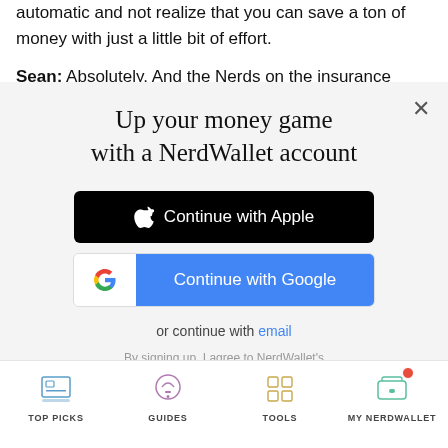automatic and not realize that you can save a ton of money with just a little bit of effort.
Sean: Absolutely. And the Nerds on the insurance
[Figure (screenshot): Modal dialog for NerdWallet sign-up with title 'Up your money game with a NerdWallet account', Apple sign-in button, Google sign-in button, email option, and terms of service links.]
Up your money game with a NerdWallet account
Continue with Apple
Continue with Google
or continue with email
By signing up, I agree to NerdWallet's Terms of Service and Privacy Policy.
TOP PICKS   GUIDES   TOOLS   MY NERDWALLET